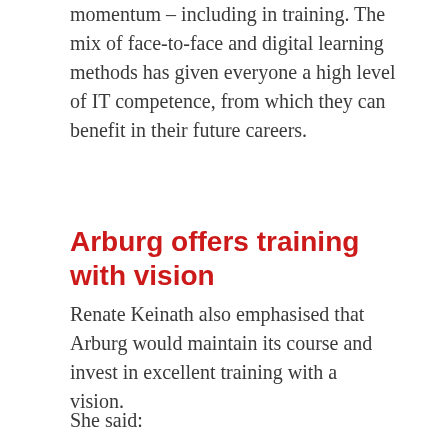momentum – including in training. The mix of face-to-face and digital learning methods has given everyone a high level of IT competence, from which they can benefit in their future careers.
Arburg offers training with vision
Renate Keinath also emphasised that Arburg would maintain its course and invest in excellent training with a vision.
She said:
“We have already signed 73 contracts for the start of the training year in September 2021 and currently still have two places available in the areas of construction mechanics and IT specialists.”
Michael Vieth, who heads the 16-member training team, looked back in his speech...
Subscribe to our newsletter